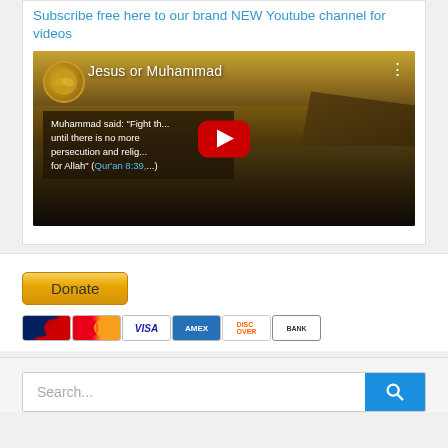Subscribe free here to our brand NEW Youtube channel for videos
[Figure (screenshot): YouTube video thumbnail showing 'Jesus or Muhammad' video with a desert/mountain landscape background. A red YouTube play button is centered. Text overlay reads: Muhammad said: "Fight th... until there is no more persecution and relig... for Allah" (Qur'an 8:39,...)]
[Figure (other): Donate button (gold/yellow gradient) followed by payment method icons: Maestro, Mastercard, Visa, American Express, Discover, Bank]
[Figure (screenshot): Search bar with placeholder text 'Search...' and a blue search button with magnifying glass icon]